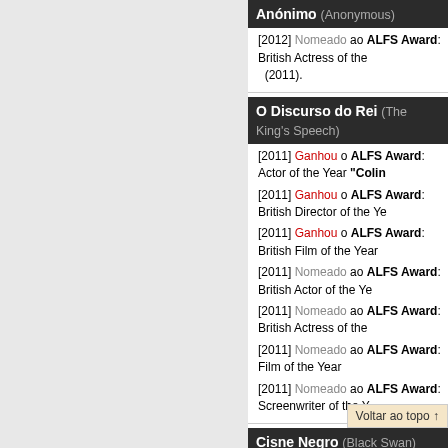Anónimo (Anonymous)
[2012] Nomeado ao ALFS Award: British Actress of the (2011).
O Discurso do Rei (The King's Speech)
[2011] Ganhou o ALFS Award: Actor of the Year "Colin
[2011] Ganhou o ALFS Award: British Director of the Ye
[2011] Ganhou o ALFS Award: British Film of the Year
[2011] Nomeado ao ALFS Award: British Actor of the Ye
[2011] Nomeado ao ALFS Award: British Actress of the
[2011] Nomeado ao ALFS Award: Film of the Year
[2011] Nomeado ao ALFS Award: Screenwriter of the Y
Cisne Negro (Black Swan)
[2011] Nomeado ao ALFS Award: Actress of the Year "N
[2011] Nomeado ao ALFS Award: Director of the Year "
[2011] Nomeado ao ALFS Award: Film of the Year
A Rede Social (The Social Network)
[2011] Nomeado ao ALFS Award: Actor of the Year "Je
[2011] Nomeado ao ALFS Award: Br
[2011] Nomeado ao ALFS Award: Director of the yea